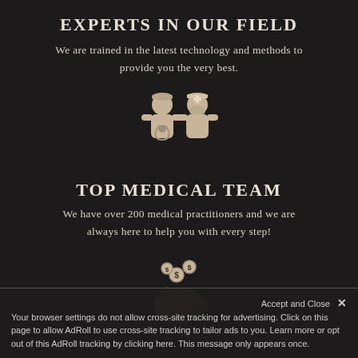EXPERTS IN OUR FIELD
We are trained in the latest technology and methods to provide you the very best.
[Figure (illustration): Two medical professionals icons: a doctor with stethoscope and a nurse with mask, rendered in beige/tan color on dark background]
TOP MEDICAL TEAM
We have over 200 medical practitioners and we are always here to help you with every step!
[Figure (illustration): Piggy bank icon with dollar coin symbols floating above it, rendered in beige/tan color on dark background]
Accept and Close ×
Your browser settings do not allow cross-site tracking for advertising. Click on this page to allow AdRoll to use cross-site tracking to tailor ads to you. Learn more or opt out of this AdRoll tracking by clicking here. This message only appears once.